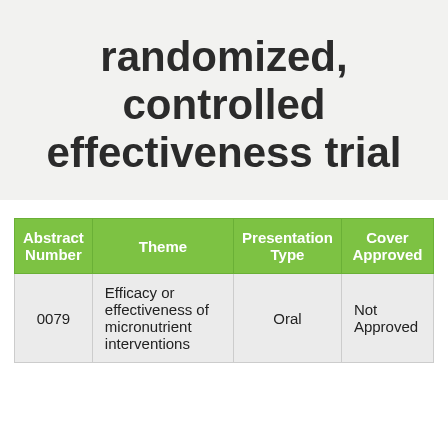randomized, controlled effectiveness trial
| Abstract Number | Theme | Presentation Type | Cover Approved |
| --- | --- | --- | --- |
| 0079 | Efficacy or effectiveness of micronutrient interventions | Oral | Not Approved |